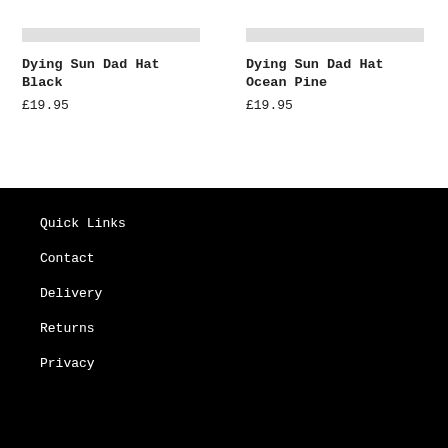Dying Sun Dad Hat Black
£19.95
Dying Sun Dad Hat Ocean Pine
£19.95
Quick Links
Contact
Delivery
Returns
Privacy